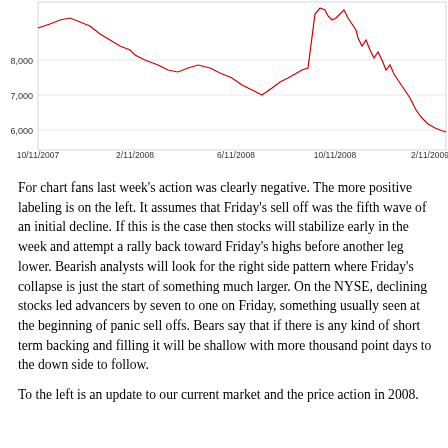[Figure (continuous-plot): Line chart showing stock market index (Dow Jones) from 10/11/2007 to 2/11/2009. The red line peaks at approximately 14,000 around 10/11/2007 area, then sharply declines to below 7,000 by 2/11/2009. Y-axis labels: 6,000, 7,000, 8,000. X-axis labels: 10/11/2007, 2/11/2008, 6/11/2008, 10/11/2008, 2/11/2009.]
For chart fans last week's action was clearly negative. The more positive labeling is on the left. It assumes that Friday's sell off was the fifth wave of an initial decline. If this is the case then stocks will stabilize early in the week and attempt a rally back toward Friday's highs before another leg lower. Bearish analysts will look for the right side pattern where Friday's collapse is just the start of something much larger. On the NYSE, declining stocks led advancers by seven to one on Friday, something usually seen at the beginning of panic sell offs. Bears say that if there is any kind of short term backing and filling it will be shallow with more thousand point days to the down side to follow.
To the left is an update to our current market and the price action in 2008.